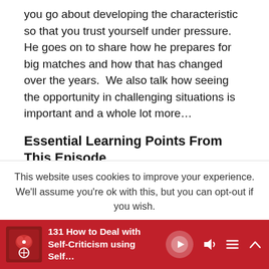you go about developing the characteristic so that you trust yourself under pressure.  He goes on to share how he prepares for big matches and how that has changed over the years.  We also talk how seeing the opportunity in challenging situations is important and a whole lot more…
Essential Learning Points From This Episode
A sense of humour and keeping perspective is hugely important to help you stay grounded and present.
This website uses cookies to improve your experience. We'll assume you're ok with this, but you can opt-out if you wish.
[Figure (other): Podcast player bar at bottom: red background, thumbnail image of podcast cover, title '131 How to Deal with Self-Criticism using Self...', play button, volume icon, list icon, chevron up icon]